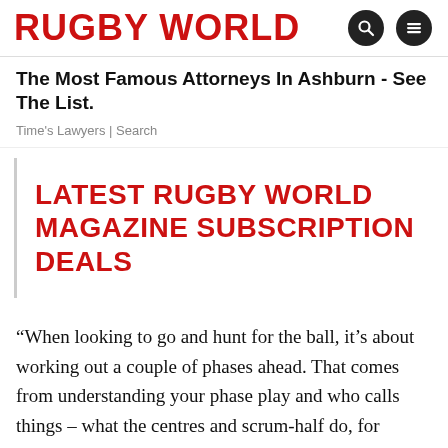RUGBY WORLD
The Most Famous Attorneys In Ashburn - See The List.
Time's Lawyers | Search
LATEST RUGBY WORLD MAGAZINE SUBSCRIPTION DEALS
“When looking to go and hunt for the ball, it’s about working out a couple of phases ahead. That comes from understanding your phase play and who calls things – what the centres and scrum-half do, for example – so you know